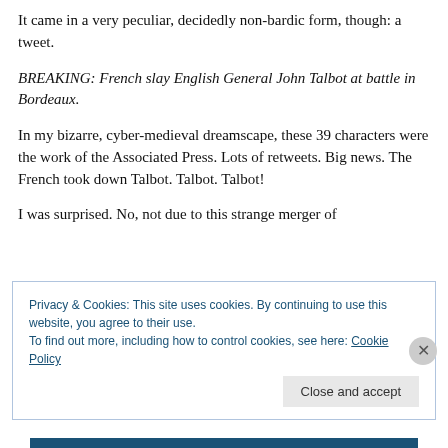It came in a very peculiar, decidedly non-bardic form, though: a tweet.
BREAKING: French slay English General John Talbot at battle in Bordeaux.
In my bizarre, cyber-medieval dreamscape, these 39 characters were the work of the Associated Press. Lots of retweets. Big news. The French took down Talbot. Talbot. Talbot!
I was surprised. No, not due to this strange merger of
Privacy & Cookies: This site uses cookies. By continuing to use this website, you agree to their use.
To find out more, including how to control cookies, see here: Cookie Policy
Close and accept